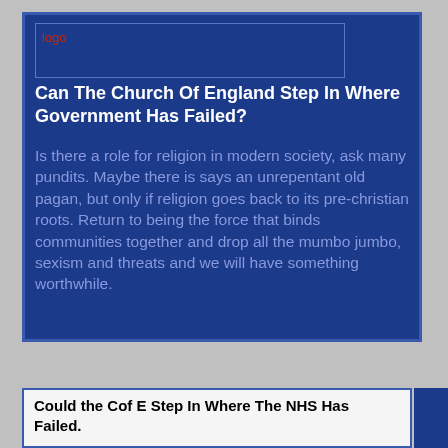[Figure (logo): Logo image placeholder showing 'logo' text in red on dark blue background]
Can The Church Of England Step In Where Government Has Failed?
Is there a role for religion in modern society, ask many pundits. Maybe there is says an unrepentant old pagan, but only if religion goes back to its pre-christian roots. Return to being the force that binds communities together and drop all the mumbo jumbo, sexism and threats and we will have something worthwhile.
Could the Cof E Step In Where The NHS Has Failed.